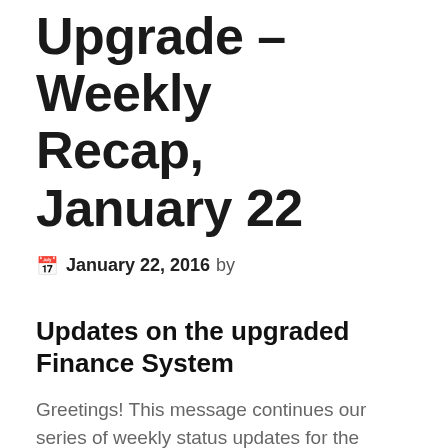Upgrade – Weekly Recap, January 22
January 22, 2016 by
Updates on the upgraded Finance System
Greetings! This message continues our series of weekly status updates for the upgraded Finance System (FIN 9.2).
December Campus Close Date not yet determined